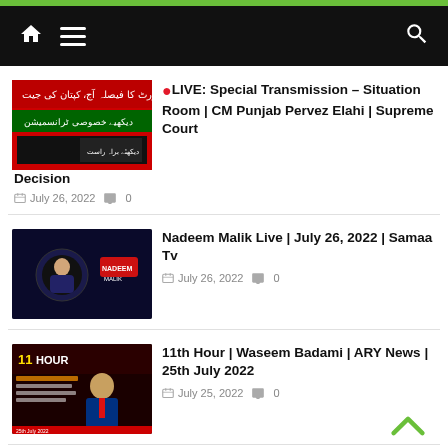Navigation bar with home, menu, and search icons
🔴LIVE: Special Transmission – Situation Room | CM Punjab Pervez Elahi | Supreme Court Decision — July 26, 2022 💬 0
Nadeem Malik Live | July 26, 2022 | Samaa Tv — July 26, 2022 💬 0
11th Hour | Waseem Badami | ARY News | 25th July 2022 — July 25, 2022 💬 0